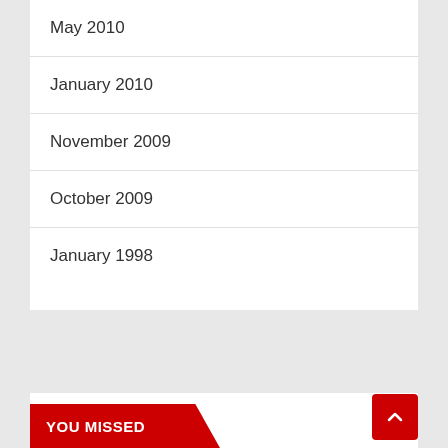May 2010
January 2010
November 2009
October 2009
January 1998
YOU MISSED